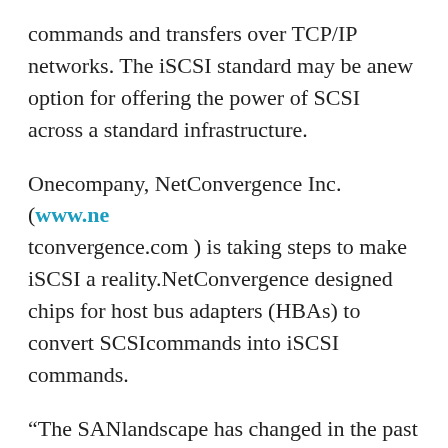commands and transfers over TCP/IP networks. The iSCSI standard may be anew option for offering the power of SCSI across a standard infrastructure.
Onecompany, NetConvergence Inc. (www.netconvergence.com) is taking steps to make iSCSI a reality.NetConvergence designed chips for host bus adapters (HBAs) to convert SCSIcommands into iSCSI commands.
“The SANlandscape has changed in the past few months,” says Simon Fok, president andCEO of NetConvergence. “Fibre Channel is going to hit a brick wall.” Fokbelieves the SAN user base will remain limited as long as SANs continue to bebased on the Fibre Channel protocol.
SteveDuplessie, senior analyst at The Enterprise Storage Group Inc. (www.enterprisestoragegroup.com)